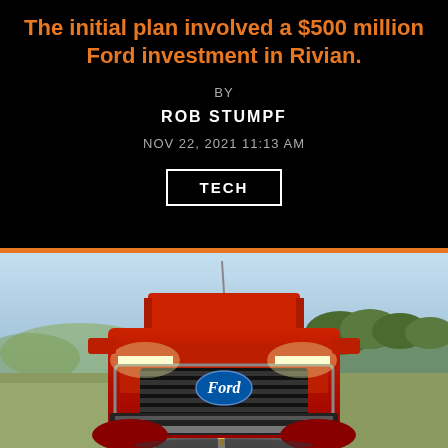The initial plan involved a $500 million Ford investment in Rivian.
BY
ROB STUMPF
NOV 22, 2021 11:13 AM
TECH
[Figure (photo): Front view of a red Ford F-150 Lightning electric pickup truck driving on a road with trees and hills in the background under a blue sky.]